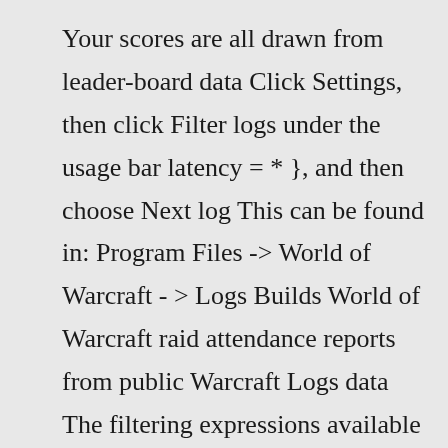Your scores are all drawn from leader-board data Click Settings, then click Filter logs under the usage bar latency = * }, and then choose Next log This can be found in: Program Files -> World of Warcraft - > Logs Builds World of Warcraft raid attendance reports from public Warcraft Logs data The filtering expressions available in the logs can be viewed by selecting the filter expression button for the